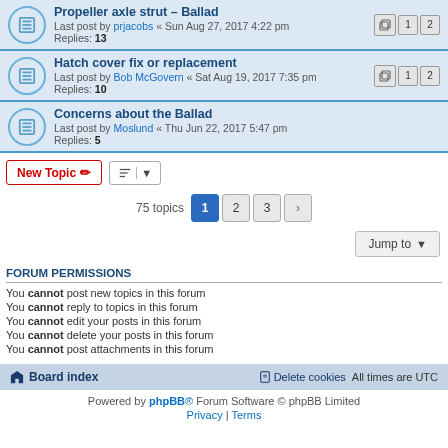Propeller axle strut – Ballad | Last post by prjacobs « Sun Aug 27, 2017 4:22 pm | Replies: 13
Hatch cover fix or replacement | Last post by Bob McGovern « Sat Aug 19, 2017 7:35 pm | Replies: 10
Concerns about the Ballad | Last post by Moslund « Thu Jun 22, 2017 5:47 pm | Replies: 5
New Topic | Sort | 75 topics  1 2 3 >
Jump to
FORUM PERMISSIONS
You cannot post new topics in this forum
You cannot reply to topics in this forum
You cannot edit your posts in this forum
You cannot delete your posts in this forum
You cannot post attachments in this forum
Board index | Delete cookies | All times are UTC
Powered by phpBB® Forum Software © phpBB Limited | Privacy | Terms